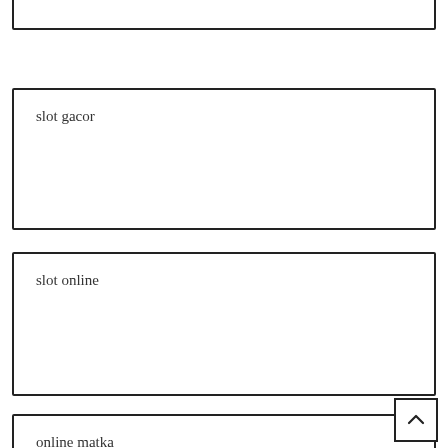slot gacor
slot online
online matka